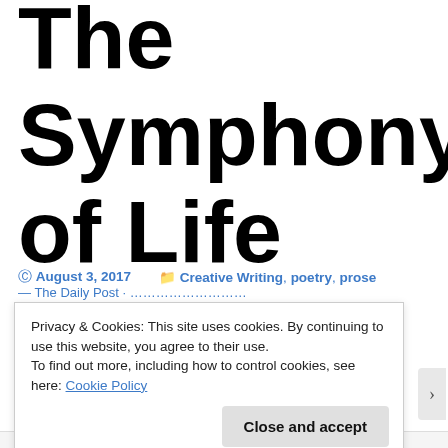The Symphony of Life
August 3, 2017   Creative Writing, poetry, prose
Privacy & Cookies: This site uses cookies. By continuing to use this website, you agree to their use. To find out more, including how to control cookies, see here: Cookie Policy
Close and accept